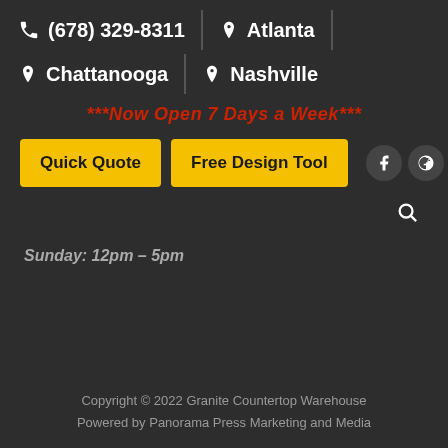(678) 329-8311 | Atlanta | Chattanooga | Nashville
***Now Open 7 Days a Week***
Quick Quote | Free Design Tool
Sunday: 12pm – 5pm
Copyright © 2022 Granite Countertop Warehouse
Powered by Panorama Press Marketing and Media